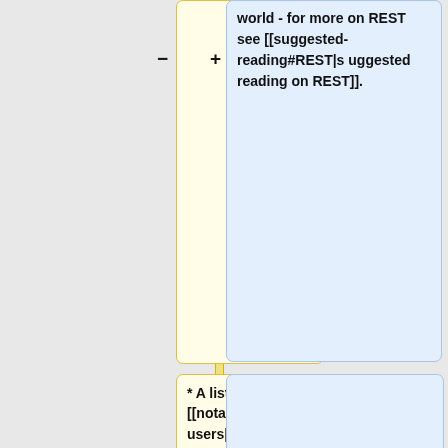[Figure (other): Diff/comparison view showing wiki markup changes. Left (yellow) boxes show old content, right (blue) boxes show new content, with minus and plus signs indicating removed and added content. Content includes wiki markup for REST reading link, notable users list, press interviews and articles, Get Started heading, and microformat presentations.]
world - for more on REST see [[suggested-reading#REST|suggested reading on REST]].
* A list of [[notable-users|some notable users]].
* Recent [[press]] interviews and [[articles]] are also a good introduction.
==Get Started ==
* See microformat [[presentations]]